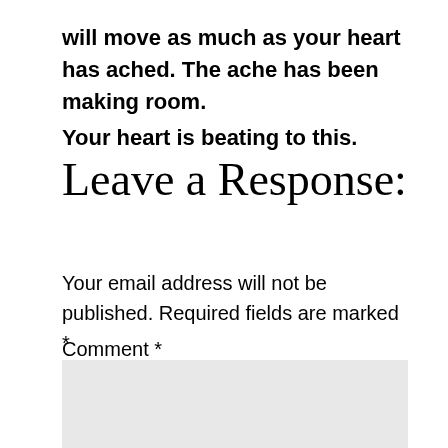will move as much as your heart has ached. The ache has been making room.
Your heart is beating to this.
Leave a Response:
Your email address will not be published. Required fields are marked *
Comment *
[Figure (other): Comment text area input box with light gray background]